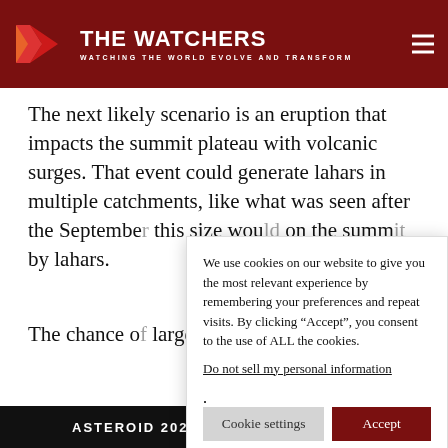THE WATCHERS — WATCHING THE WORLD EVOLVE AND TRANSFORM
The next likely scenario is an eruption that impacts the summit plateau with volcanic surges. That event could generate lahars in multiple catchments, like what was seen after the September [obscured] this size wou[ld] on the summ[it] by lahars.
We use cookies on our website to give you the most relevant experience by remembering your preferences and repeat visits. By clicking “Accept”, you consent to the use of ALL the cookies.
Do not sell my personal information.
The chance o[f a] larger erupti[on]
ASTEROID 2022 RB2 CLOSE APPR